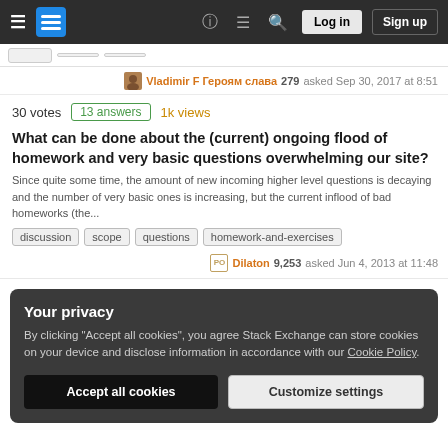Stack Exchange navigation bar with Log in and Sign up buttons
Vladimir F Героям слава 279 asked Sep 30, 2017 at 8:51
30 votes  13 answers  1k views
What can be done about the (current) ongoing flood of homework and very basic questions overwhelming our site?
Since quite some time, the amount of new incoming higher level questions is decaying and the number of very basic ones is increasing, but the current inflood of bad homeworks (the...
discussion
scope
questions
homework-and-exercises
Dilaton 9,253 asked Jun 4, 2013 at 11:48
Your privacy
By clicking "Accept all cookies", you agree Stack Exchange can store cookies on your device and disclose information in accordance with our Cookie Policy.
Accept all cookies  Customize settings